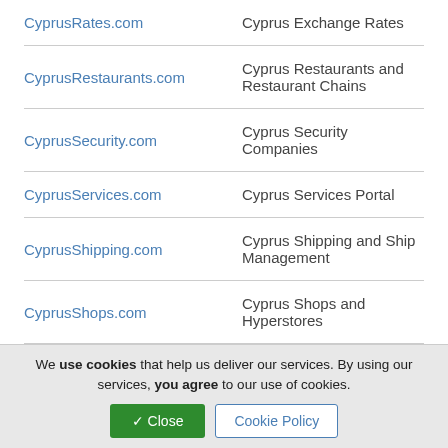| Domain | Description |
| --- | --- |
| CyprusRates.com | Cyprus Exchange Rates |
| CyprusRestaurants.com | Cyprus Restaurants and Restaurant Chains |
| CyprusSecurity.com | Cyprus Security Companies |
| CyprusServices.com | Cyprus Services Portal |
| CyprusShipping.com | Cyprus Shipping and Ship Management |
| CyprusShops.com | Cyprus Shops and Hyperstores |
We use cookies that help us deliver our services. By using our services, you agree to our use of cookies.